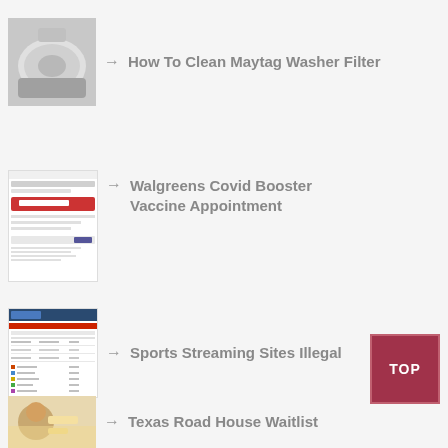[Figure (screenshot): Thumbnail of a Maytag washer filter cleaning image]
→ How To Clean Maytag Washer Filter
[Figure (screenshot): Thumbnail of Walgreens Covid Booster Vaccine Appointment webpage]
→ Walgreens Covid Booster Vaccine Appointment
[Figure (screenshot): Thumbnail of sports streaming sites listing page]
→ Sports Streaming Sites Illegal
[Figure (other): TOP button - dark red square with TOP text]
[Figure (screenshot): Thumbnail of Texas Road House Waitlist page]
→ Texas Road House Waitlist